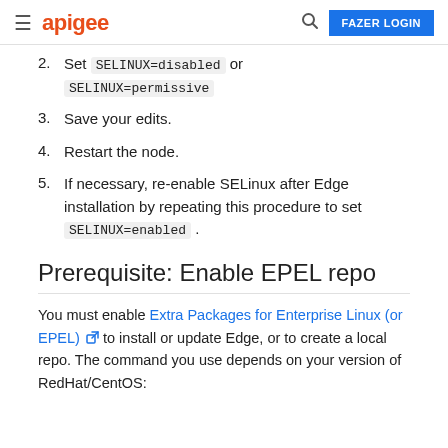apigee | FAZER LOGIN
2. Set SELINUX=disabled or SELINUX=permissive
3. Save your edits.
4. Restart the node.
5. If necessary, re-enable SELinux after Edge installation by repeating this procedure to set SELINUX=enabled .
Prerequisite: Enable EPEL repo
You must enable Extra Packages for Enterprise Linux (or EPEL) to install or update Edge, or to create a local repo. The command you use depends on your version of RedHat/CentOS: